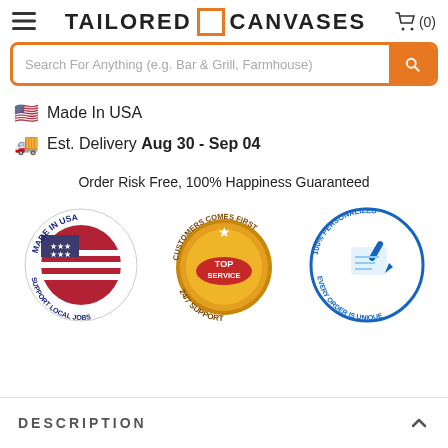TAILORED CANVASES (0)
Search For Anything (e.g. Bar & Grill, Farmhouse)
🇺🇸 Made In USA
Est. Delivery Aug 30 - Sep 04
Order Risk Free, 100% Happiness Guaranteed
[Figure (logo): Made In USA badge with US flag circle, text MADE IN USA and SUPPORT LOCAL JOBS]
[Figure (logo): Customers Comes First badge with gold medal, TOP SERVICE, 24/7 SUPPORT]
[Figure (logo): 100% Personalized badge with hand writing, EVERY ORDER IS UNIQUE]
DESCRIPTION